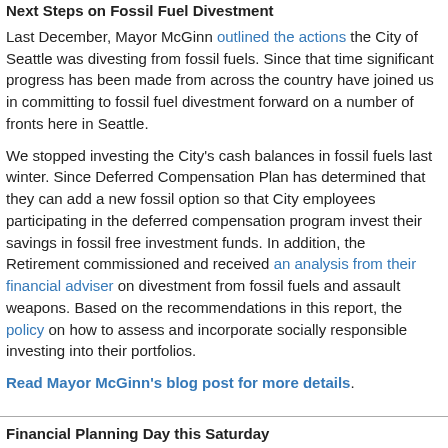Next Steps on Fossil Fuel Divestment
Last December, Mayor McGinn outlined the actions the City of Seattle was divesting from fossil fuels. Since that time significant progress has been made from across the country have joined us in committing to fossil fuel divestment forward on a number of fronts here in Seattle.
We stopped investing the City's cash balances in fossil fuels last winter. Since Deferred Compensation Plan has determined that they can add a new fossil option so that City employees participating in the deferred compensation program invest their savings in fossil free investment funds. In addition, the Retirement commissioned and received an analysis from their financial adviser on divestment from fossil fuels and assault weapons. Based on the recommendations in this report, the policy on how to assess and incorporate socially responsible investing into their portfolios.
Read Mayor McGinn's blog post for more details.
Financial Planning Day this Saturday
Financial Planning Day is this Saturday, October 12 from 10-2 at Garfield Community Center (2323 East Cherry Street)
FREE, one-on-one personalized financial advice from Certified Financial Planners.
Credit, debt, and housing counselors and benefits specialists will offer free, confidential assistance.
Workshops on budgeting, credit reports and scores, dealing with debt collectors, and health care reform.
Application assistance for health insurance coverage through Washington Healthplanfinder.